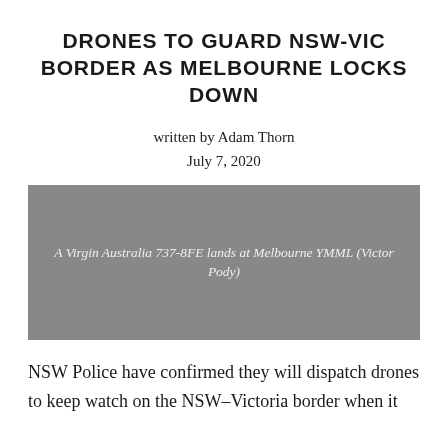DRONES TO GUARD NSW-VIC BORDER AS MELBOURNE LOCKS DOWN
written by Adam Thorn
July 7, 2020
[Figure (photo): A Virgin Australia 737-8FE lands at Melbourne YMML (Victor Pody)]
A Virgin Australia 737-8FE lands at Melbourne YMML (Victor Pody)
NSW Police have confirmed they will dispatch drones to keep watch on the NSW–Victoria border when it